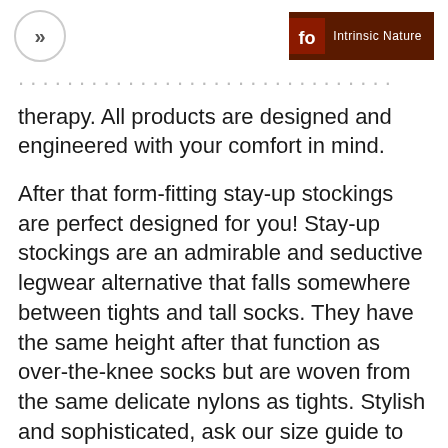>> | Intrinsic Nature
therapy. All products are designed and engineered with your comfort in mind.
After that form-fitting stay-up stockings are perfect designed for you! Stay-up stockings are an admirable and seductive legwear alternative that falls somewhere between tights and tall socks. They have the same height after that function as over-the-knee socks but are woven from the same delicate nylons as tights. Stylish and sophisticated, ask our size guide to choose the right pair for you! If you instead prefer a more playful air, select hosiery featuring hearts, fishnet , or bows on the band. Before opt for the style in ashen lace to add a touch of class to your wedding day. This feature has been reinforced with a silicone-lined band to provide grip after that friction. Their outstanding adherence guarantees you comfort and assuredness! In the chill, legwear and thigh highs are a minute